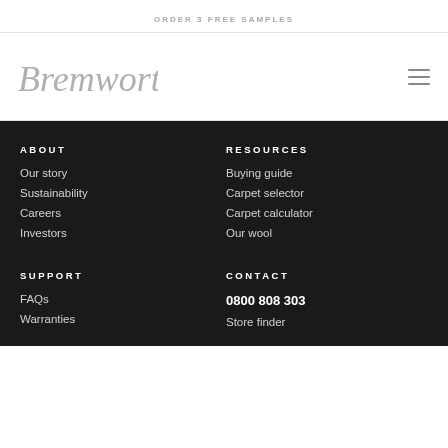ORDER 3 FREE SAMPLES
[Figure (logo): Bremworth cursive logo in grey]
ABOUT
Our story
Sustainability
Careers
Investors
RESOURCES
Buying guide
Carpet selector
Carpet calculator
Our wool
SUPPORT
FAQs
Warranties
CONTACT
0800 808 303
Store finder